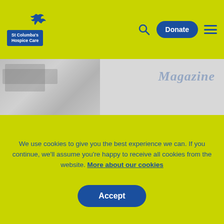St Columba's Hospice Care — Navigation bar with logo, Donate button, search icon, and hamburger menu
[Figure (screenshot): Partially visible banner image (muted grey tones) on the left, with 'Magazine' text faintly visible in blue italic on the right, on a light grey background strip.]
We use cookies to give you the best experience we can. If you continue, we'll assume you're happy to receive all cookies from the website. More about our cookies
Accept